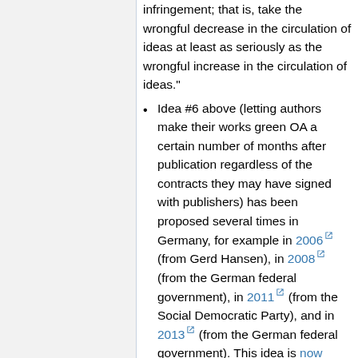infringement; that is, take the wrongful decrease in the circulation of ideas at least as seriously as the wrongful increase in the circulation of ideas."
Idea #6 above (letting authors make their works green OA a certain number of months after publication regardless of the contracts they may have signed with publishers) has been proposed several times in Germany, for example in 2006 (from Gerd Hansen), in 2008 (from the German federal government), in 2011 (from the Social Democratic Party), and in 2013 (from the German federal government). This idea is now